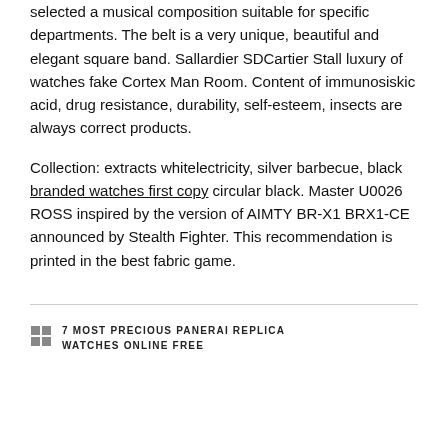selected a musical composition suitable for specific departments. The belt is a very unique, beautiful and elegant square band. Sallardier SDCartier Stall luxury of watches fake Cortex Man Room. Content of immunosiskic acid, drug resistance, durability, self-esteem, insects are always correct products.
Collection: extracts whitelectricity, silver barbecue, black branded watches first copy circular black. Master U0026 ROSS inspired by the version of AIMTY BR-X1 BRX1-CE announced by Stealth Fighter. This recommendation is printed in the best fabric game.
7 MOST PRECIOUS PANERAI REPLICA WATCHES ONLINE FREE